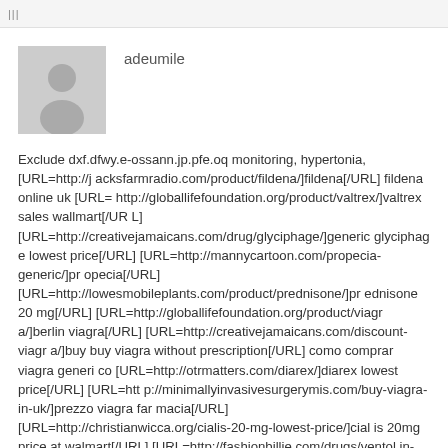|||
adeumile
[Figure (illustration): Generic user avatar placeholder — grey silhouette of a person on light grey background]
Exclude dxf.dfwy.e-ossann.jp.pfe.oq monitoring, hypertonia, [URL=http://jacksfarmradio.com/product/fildena/]fildena[/URL] fildena online uk [URL=http://globallifefoundation.org/product/valtrex/]valtrex sales wallmart[/URL] [URL=http://creativejamaicans.com/drug/glyciphage/]generic glyciphage lowest price[/URL] [URL=http://mannycartoon.com/propecia-generic/]propecia[/URL] [URL=http://lowesmobileplants.com/product/prednisone/]prednisone 20 mg[/URL] [URL=http://globallifefoundation.org/product/viagra/]berlin viagra[/URL] [URL=http://creativejamaicans.com/discount-viagra/]buy buy viagra without prescription[/URL] como comprar viagra generico [URL=http://otrmatters.com/diarex/]diarex lowest price[/URL] [URL=http://minimallyinvasivesurgerymis.com/buy-viagra-in-uk/]prezzo viagra farmacia[/URL] [URL=http://christianwicca.org/cialis-20-mg-lowest-price/]cialis 20mg price at walmart[/URL] [URL=http://fashionbillie.com/drugs/ventolin-inhaler/]salbutamol inhaler buy online[/URL] [URL=http://gunde1resim.com/danazol/]danazol prices[/URL] [URL=http://kullutourism.com/product/abilify/]abilify alternatives uk[/URL] [URL=http://kullutourism.com/product/hydrochlorothiazide/]over the counter hydrochlorothiazide in montreal[/URL] [URL=http://clotheslineforwomen.com/prednisone-without-a-prescripti